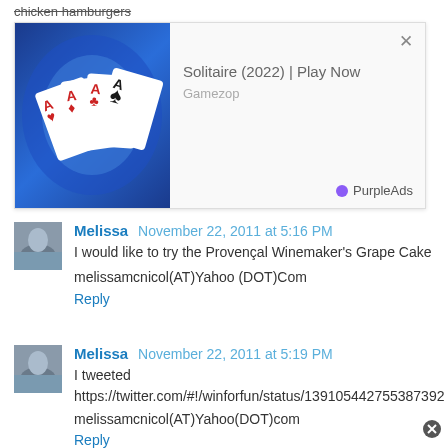chicken hamburgers
[Figure (screenshot): Advertisement for Solitaire (2022) game by Gamezop showing playing cards on blue background, with PurpleAds label and close button]
Melissa  November 22, 2011 at 5:16 PM
I would like to try the Provençal Winemaker's Grape Cake

melissamcnicol(AT)Yahoo (DOT)Com
Reply
Melissa  November 22, 2011 at 5:19 PM
I tweeted https://twitter.com/#!/winforfun/status/139105442755387392

melissamcnicol(AT)Yahoo(DOT)com
Reply